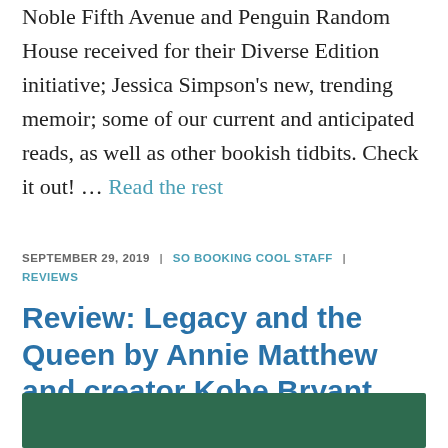Noble Fifth Avenue and Penguin Random House received for their Diverse Edition initiative; Jessica Simpson's new, trending memoir; some of our current and anticipated reads, as well as other bookish tidbits. Check it out! … Read the rest
SEPTEMBER 29, 2019 | SO BOOKING COOL STAFF | REVIEWS
Review: Legacy and the Queen by Annie Matthew and creator Kobe Bryant
[Figure (other): Dark green rectangular image block (partial, cropped at bottom of page)]